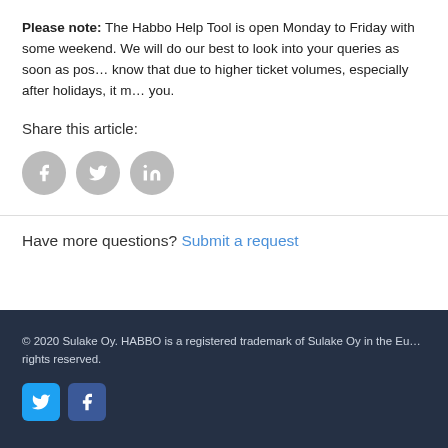Please note: The Habbo Help Tool is open Monday to Friday with some weekend. We will do our best to look into your queries as soon as possible. Please know that due to higher ticket volumes, especially after holidays, it may take longer to get back to you.
Share this article:
[Figure (other): Three social sharing icon circles (Facebook, Twitter, LinkedIn) in grey]
Have more questions? Submit a request
© 2020 Sulake Oy. HABBO is a registered trademark of Sulake Oy in the EU and other countries. All rights reserved.